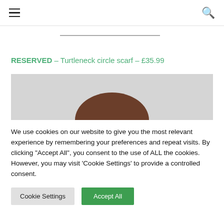Navigation bar with hamburger menu and search icon
RESERVED – Turtleneck circle scarf – £35.99
[Figure (photo): Partial view of a man's face from forehead to just below the eyes, against a light grey background]
We use cookies on our website to give you the most relevant experience by remembering your preferences and repeat visits. By clicking "Accept All", you consent to the use of ALL the cookies. However, you may visit 'Cookie Settings' to provide a controlled consent.